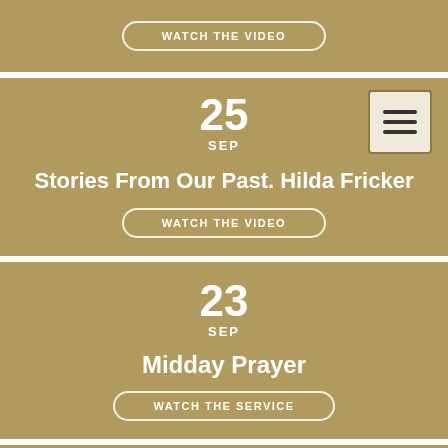WATCH THE VIDEO
25 SEP
Stories From Our Past. Hilda Fricker
WATCH THE VIDEO
23 SEP
Midday Prayer
WATCH THE SERVICE
20 SEP